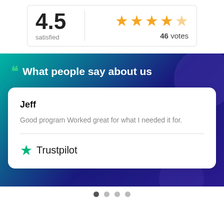[Figure (infographic): Rating display showing 4.5 with 4.5 gold stars and 46 votes]
What people say about us
Jeff
Good program Worked great for what I needed it for.
[Figure (logo): Trustpilot logo with green star and Trustpilot text]
[Figure (infographic): Carousel navigation dots, first dot active]